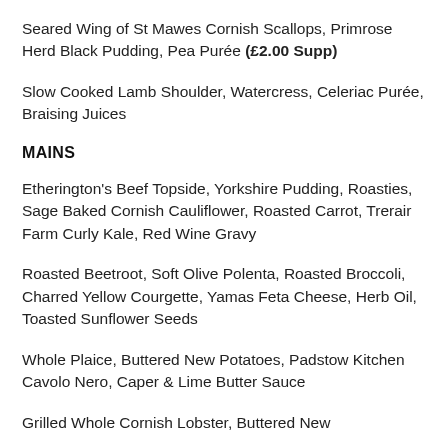Seared Wing of St Mawes Cornish Scallops, Primrose Herd Black Pudding, Pea Purée (£2.00 Supp)
Slow Cooked Lamb Shoulder, Watercress, Celeriac Purée, Braising Juices
MAINS
Etherington's Beef Topside, Yorkshire Pudding, Roasties, Sage Baked Cornish Cauliflower, Roasted Carrot, Trerair Farm Curly Kale, Red Wine Gravy
Roasted Beetroot, Soft Olive Polenta, Roasted Broccoli, Charred Yellow Courgette, Yamas Feta Cheese, Herb Oil, Toasted Sunflower Seeds
Whole Plaice, Buttered New Potatoes, Padstow Kitchen Cavolo Nero, Caper & Lime Butter Sauce
Grilled Whole Cornish Lobster, Buttered New